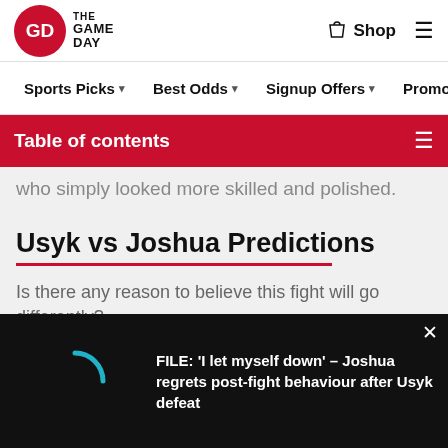[Figure (logo): The Game Day logo — red circle with GD monogram, text 'THE GAME DAY']
Shop  ☰
Sports Picks ▾   Best Odds ▾   Signup Offers ▾   Promoti…
Table of contents
who simply looked more skilled and polished.
Usyk vs Joshua Predictions
Is there any reason to believe this fight will go differently?
[Figure (screenshot): Video overlay: FILE: 'I let myself down' – Joshua regrets post-fight behaviour after Usyk defeat]